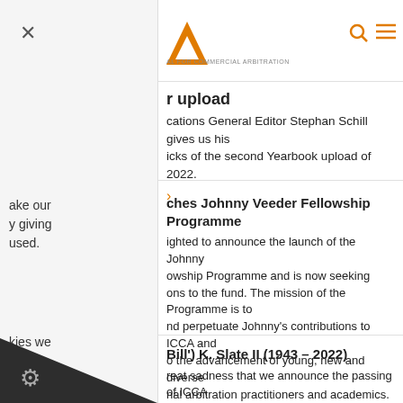AL FOR COMMERCIAL ARBITRATION
r upload
cations General Editor Stephan Schill gives us his icks of the second Yearbook upload of 2022.
ches Johnny Veeder Fellowship Programme
ighted to announce the launch of the Johnny owship Programme and is now seeking ons to the fund. The mission of the Programme is to nd perpetuate Johnny's contributions to ICCA and o the advancement of young, new and diverse nal arbitration practitioners and academics.
Bill') K. Slate II (1943 – 2022)
reat sadness that we announce the passing of ICCA